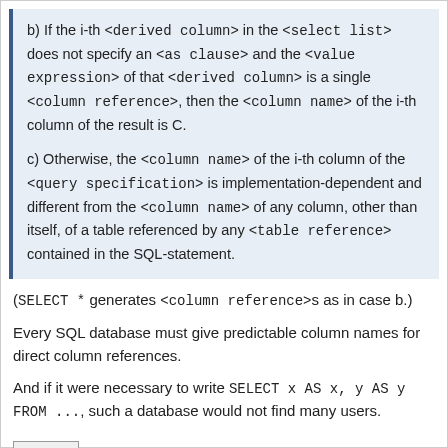b) If the i-th <derived column> in the <select list> does not specify an <as clause> and the <value expression> of that <derived column> is a single <column reference>, then the <column name> of the i-th column of the result is C.
c) Otherwise, the <column name> of the i-th column of the <query specification> is implementation-dependent and different from the <column name> of any column, other than itself, of a table referenced by any <table reference> contained in the SQL-statement.
(SELECT * generates <column reference>s as in case b.)
Every SQL database must give predictable column names for direct column references.
And if it were necessary to write SELECT x AS x, y AS y FROM ..., such a database would not find many users.
Reply